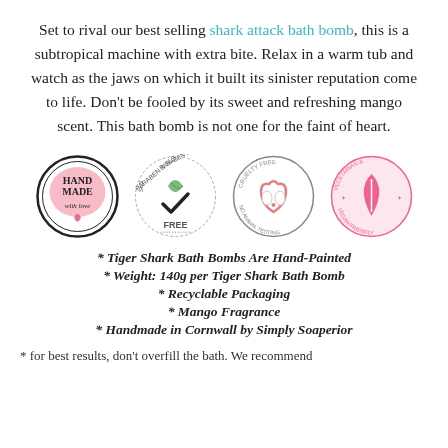Set to rival our best selling shark attack bath bomb, this is a subtropical machine with extra bite. Relax in a warm tub and watch as the jaws on which it built its sinister reputation come to life. Don't be fooled by its sweet and refreshing mango scent. This bath bomb is not one for the faint of heart.
[Figure (logo): Four certification badges: Handmade with love, Paraben & SLS Free, Cruelty Free No Animal Testing, Vegetarian & Vegan Friendly]
* Tiger Shark Bath Bombs Are Hand-Painted
* Weight: 140g per Tiger Shark Bath Bomb
* Recyclable Packaging
* Mango Fragrance
* Handmade in Cornwall by Simply Soaperior
* for best results, don't overfill the bath. We recommend